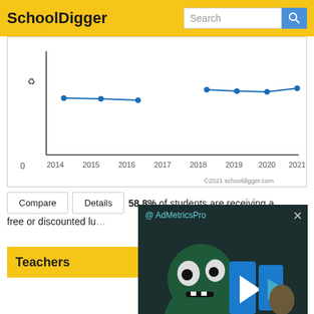SchoolDigger
[Figure (line-chart): Students receiving free/discounted lunch over time]
Compare   Details   58.8% of students are receiving a free or discounted lu...
Teachers
[Figure (screenshot): AdMetricsPro video advertisement overlay with cartoon monster character and play button, mute button visible at bottom left, close button at top right]